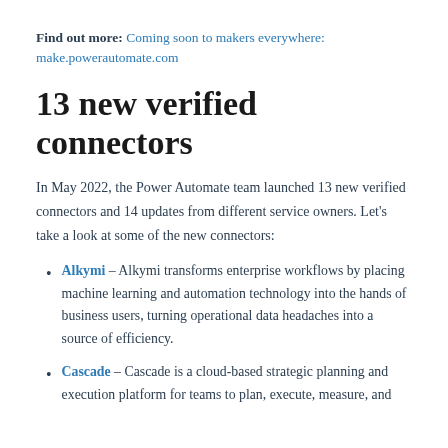Find out more: Coming soon to makers everywhere:
make.powerautomate.com
13 new verified connectors
In May 2022, the Power Automate team launched 13 new verified connectors and 14 updates from different service owners. Let's take a look at some of the new connectors:
Alkymi – Alkymi transforms enterprise workflows by placing machine learning and automation technology into the hands of business users, turning operational data headaches into a source of efficiency.
Cascade – Cascade is a cloud-based strategic planning and execution platform for teams to plan, execute, measure, and